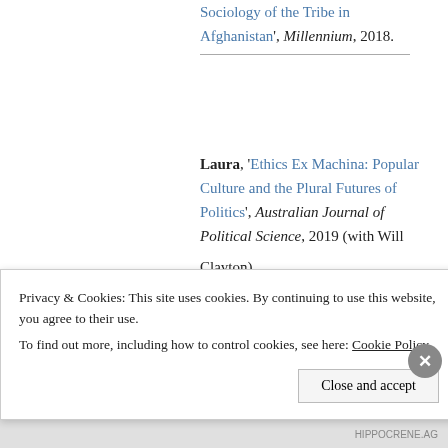Sociology of the Tribe in Afghanistan', Millennium, 2018.
Laura, 'Ethics Ex Machina: Popular Culture and the Plural Futures of Politics', Australian Journal of Political Science, 2019 (with Will Clayton).
Privacy & Cookies: This site uses cookies. By continuing to use this website, you agree to their use. To find out more, including how to control cookies, see here: Cookie Policy